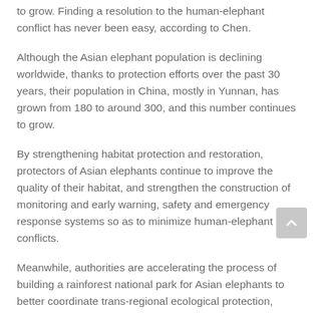to grow. Finding a resolution to the human-elephant conflict has never been easy, according to Chen.
Although the Asian elephant population is declining worldwide, thanks to protection efforts over the past 30 years, their population in China, mostly in Yunnan, has grown from 180 to around 300, and this number continues to grow.
By strengthening habitat protection and restoration, protectors of Asian elephants continue to improve the quality of their habitat, and strengthen the construction of monitoring and early warning, safety and emergency response systems so as to minimize human-elephant conflicts.
Meanwhile, authorities are accelerating the process of building a rainforest national park for Asian elephants to better coordinate trans-regional ecological protection, study and protect the species and their habitats.